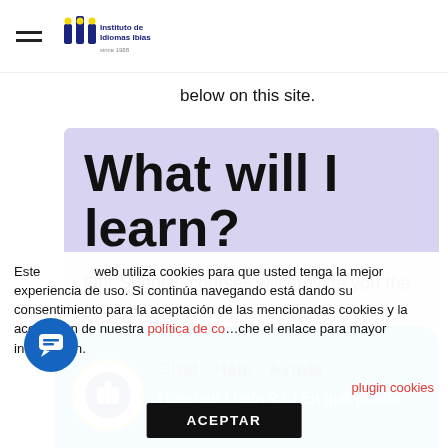Instituto de Idiomas Ibias
below on this site.
What will I learn?
Our Spanish courses will provide you the
[Figure (screenshot): Chat widget with sky-blue background showing 'Chat - Help - Ayuda' title and 'How can I help ? / ¿En qué puedo ayudarte?' message with institute logo icon]
Este web utiliza cookies para que usted tenga la mejor experiencia de uso. Si continúa navegando está dando su consentimiento para la aceptación de las mencionadas cookies y la aceptación de nuestra política de cookies. Pinche el enlace para mayor información.
plugin cookies
ACEPTAR